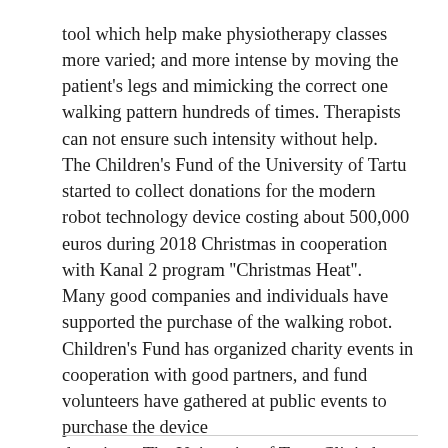tool which help make physiotherapy classes more varied; and more intense by moving the patient's legs and mimicking the correct one walking pattern hundreds of times. Therapists can not ensure such intensity without help. The Children's Fund of the University of Tartu started to collect donations for the modern robot technology device costing about 500,000 euros during 2018 Christmas in cooperation with Kanal 2 program ''Christmas Heat''. Many good companies and individuals have supported the purchase of the walking robot. Children's Fund has organized charity events in cooperation with good partners, and fund volunteers have gathered at public events to purchase the device donations. The University of Tartu Clinic has also contributed to the acquisition of the walking robot.